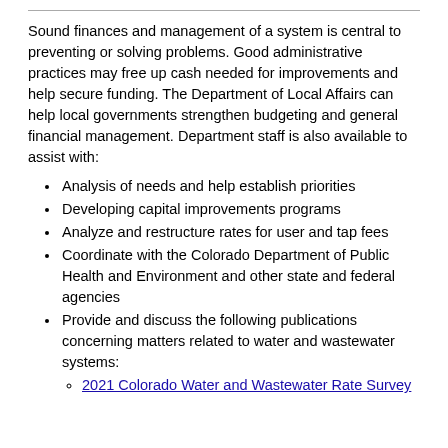Sound finances and management of a system is central to preventing or solving problems. Good administrative practices may free up cash needed for improvements and help secure funding. The Department of Local Affairs can help local governments strengthen budgeting and general financial management. Department staff is also available to assist with:
Analysis of needs and help establish priorities
Developing capital improvements programs
Analyze and restructure rates for user and tap fees
Coordinate with the Colorado Department of Public Health and Environment and other state and federal agencies
Provide and discuss the following publications concerning matters related to water and wastewater systems:
2021 Colorado Water and Wastewater Rate Survey